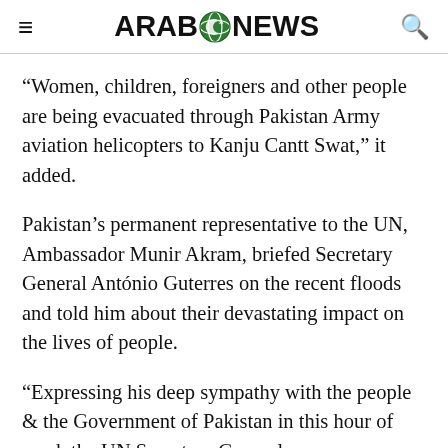ARAB NEWS
“Women, children, foreigners and other people are being evacuated through Pakistan Army aviation helicopters to Kanju Cantt Swat,” it added.
Pakistan’s permanent representative to the UN, Ambassador Munir Akram, briefed Secretary General António Guterres on the recent floods and told him about their devastating impact on the lives of people.
“Expressing his deep sympathy with the people & the Government of Pakistan in this hour of need, the UN Secretary General @antonioguterres assured full support & solidarity of the...